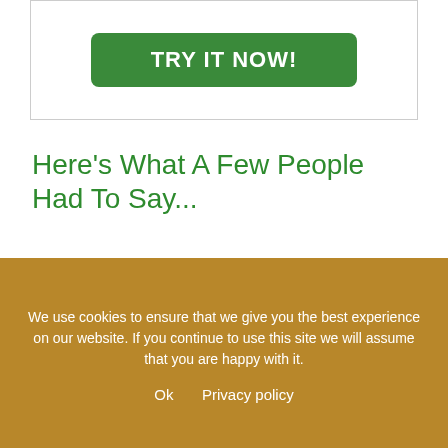[Figure (other): Green 'TRY IT NOW!' button inside a bordered box]
Here's What A Few People Had To Say...
"My head has been spinning since the first day I met you! IN A GOOD WAY! You've opened my eyes to so many things and I see food in a whole new light. Thank you for sharing such valuable information and putting people's
We use cookies to ensure that we give you the best experience on our website. If you continue to use this site we will assume that you are happy with it.
Ok   Privacy policy